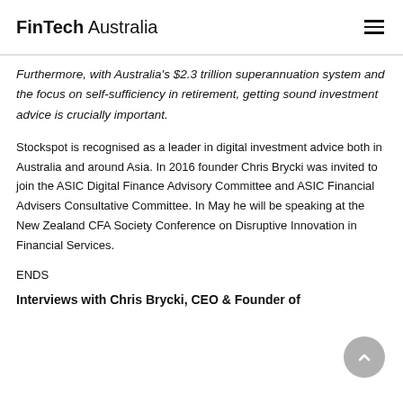FinTech Australia
Furthermore, with Australia's $2.3 trillion superannuation system and the focus on self-sufficiency in retirement, getting sound investment advice is crucially important.
Stockspot is recognised as a leader in digital investment advice both in Australia and around Asia. In 2016 founder Chris Brycki was invited to join the ASIC Digital Finance Advisory Committee and ASIC Financial Advisers Consultative Committee. In May he will be speaking at the New Zealand CFA Society Conference on Disruptive Innovation in Financial Services.
ENDS
Interviews with Chris Brycki, CEO & Founder of